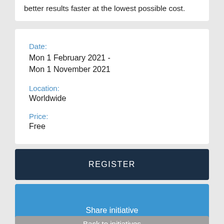better results faster at the lowest possible cost.
Date:
Mon 1 February 2021 -
Mon 1 November 2021
Location:
Worldwide
Price:
Free
REGISTER
Save for later
Share initiative
Back to initiatives